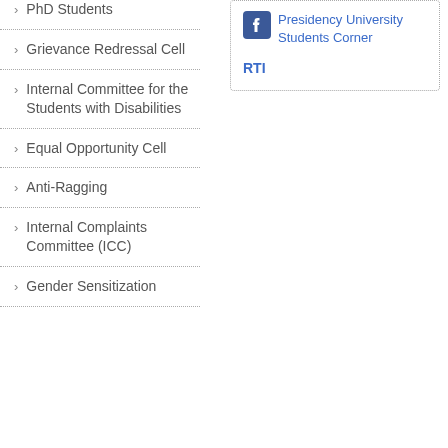PhD Students
Grievance Redressal Cell
Internal Committee for the Students with Disabilities
Equal Opportunity Cell
Anti-Ragging
Internal Complaints Committee (ICC)
Gender Sensitization
Presidency University Students Corner
RTI